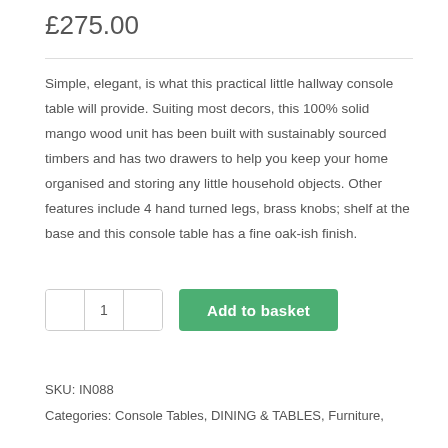£275.00
Simple, elegant, is what this practical little hallway console table will provide. Suiting most decors, this 100% solid mango wood unit has been built with sustainably sourced timbers and has two drawers to help you keep your home organised and storing any little household objects. Other features include 4 hand turned legs, brass knobs; shelf at the base and this console table has a fine oak-ish finish.
SKU: IN088
Categories: Console Tables, DINING & TABLES, Furniture,